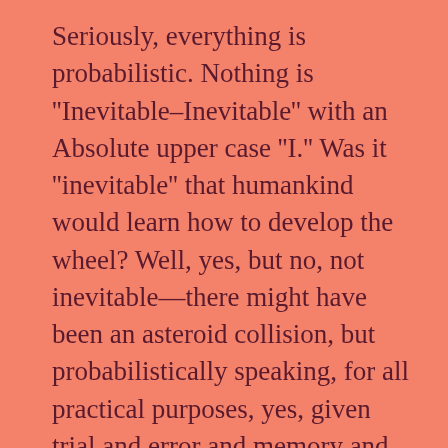Seriously, everything is probabilistic. Nothing is ''Inevitable–Inevitable'' with an Absolute upper case ''I.'' Was it ''inevitable'' that humankind would learn how to develop the wheel? Well, yes, but no, not inevitable—there might have been an asteroid collision, but probabilistically speaking, for all practical purposes, yes, given trial and error and memory and enough time. Consider it is in the dynamic of capitalism that enterprises must maximize profits. It is not inevitable in so-called human nature that we are doomed to being insatiable for money. But within the limits of capitalism, as in the game ''Monopoly,'' those firms that are not successful at maximizing income/profits will